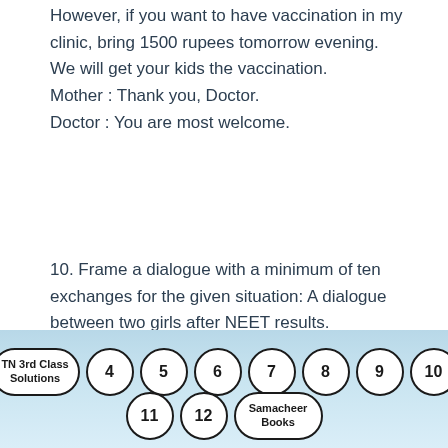However, if you want to have vaccination in my clinic, bring 1500 rupees tomorrow evening. We will get your kids the vaccination. Mother : Thank you, Doctor. Doctor : You are most welcome.
10. Frame a dialogue with a minimum of ten exchanges for the given situation: A dialogue between two girls after NEET results. Priya : Why are you crying? Neetha : I lost my chance to join medicine just by two marks. Priya : Don't be upset.
TN 3rd Class Solutions  4  5  6  7  8  9  10  11  12  Samacheer Books